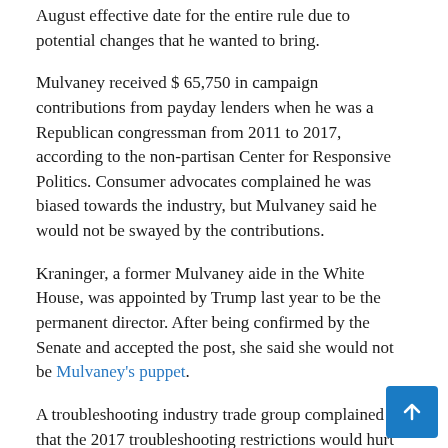August effective date for the entire rule due to potential changes that he wanted to bring.
Mulvaney received $ 65,750 in campaign contributions from payday lenders when he was a Republican congressman from 2011 to 2017, according to the non-partisan Center for Responsive Politics. Consumer advocates complained he was biased towards the industry, but Mulvaney said he would not be swayed by the contributions.
Kraninger, a former Mulvaney aide in the White House, was appointed by Trump last year to be the permanent director. After being confirmed by the Senate and accepted the post, she said she would not be Mulvaney's puppet.
A troubleshooting industry trade group complained that the 2017 troubleshooting restrictions would hurt consumers and said it was satisfied, but not entirely satisfied, with Kraninger's proposal.
"It's just the beginning of former Director Cordray's effort...